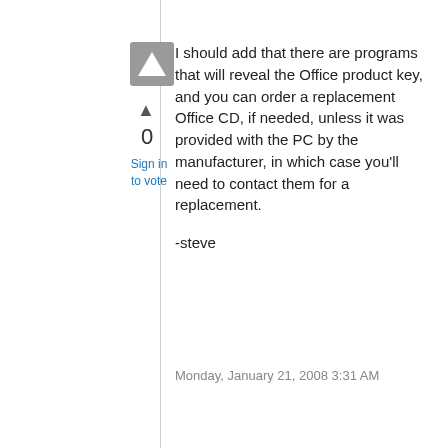[Figure (other): Gray speech/comment icon box]
▲
0
Sign in to vote
I should add that there are programs that will reveal the Office product key, and you can order a replacement Office CD, if needed, unless it was provided with the PC by the manufacturer, in which case you'll need to contact them for a replacement.

-steve
Monday, January 21, 2008 3:31 AM